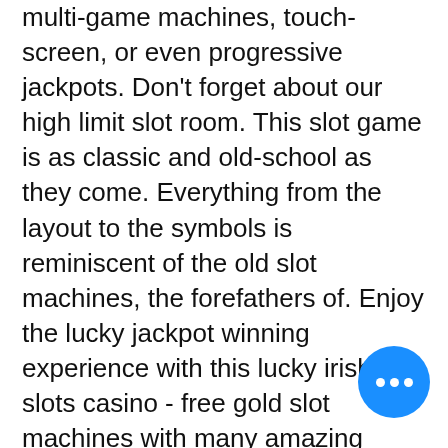multi-game machines, touch-screen, or even progressive jackpots. Don't forget about our high limit slot room. This slot game is as classic and old-school as they come. Everything from the layout to the symbols is reminiscent of the old slot machines, the forefathers of. Enjoy the lucky jackpot winning experience with this lucky irish slots casino - free gold slot machines with many amazing bonus coins payouts. The reels will be arranged in three rows of thematic symbols, each of which will have its own coefficients and play a certain role. Try the gambling feature available and double your winnings many folds if your luck allows. Ultra hot deluxe game description
The payout at the end of the game is based on the card combination you are holding and the size of your wager. After all this play at Lincoln Casino one must be rewarded hot casino game. Everyone who plays at Lincoln Casino is able to take advantage of
[Figure (other): Blue circular floating action button with three white dots (ellipsis) in the center, positioned at the bottom right of the page.]